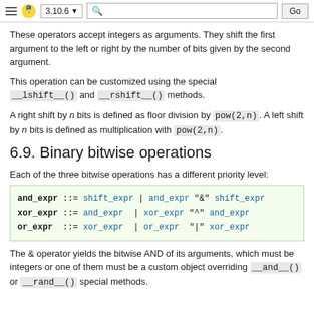3.10.6  Go
These operators accept integers as arguments. They shift the first argument to the left or right by the number of bits given by the second argument.
This operation can be customized using the special __lshift__() and __rshift__() methods.
A right shift by n bits is defined as floor division by pow(2,n). A left shift by n bits is defined as multiplication with pow(2,n).
6.9. Binary bitwise operations
Each of the three bitwise operations has a different priority level:
[Figure (other): Grammar box showing: and_expr ::= shift_expr | and_expr "&" shift_expr; xor_expr ::= and_expr | xor_expr "^" and_expr; or_expr ::= xor_expr | or_expr "|" xor_expr]
The & operator yields the bitwise AND of its arguments, which must be integers or one of them must be a custom object overriding __and__() or __rand__() special methods.